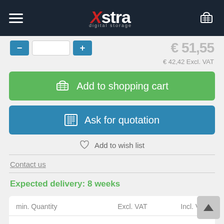[Figure (screenshot): Xstra Digital Storage e-commerce product page showing navigation bar with hamburger menu, logo, cart icon, product price, add to cart button, ask for quotation button, add to wish list link, contact us link, expected delivery notice, and pricing table.]
€ 51,55
€ 42,42 Excl. VAT
Add to shopping cart
Ask for quotation
Add to wish list
Contact us
Expected delivery: 8 weeks
| min. Quantity | Excl. VAT | Incl. VAT |
| --- | --- | --- |
| 1x | € 42,42 | € 51,… |
| 5x | € 41,77 | € 50,54 |